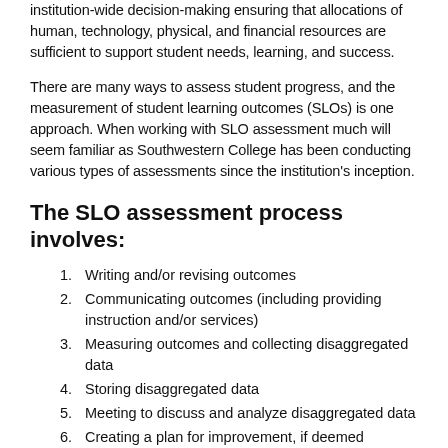institution-wide decision-making ensuring that allocations of human, technology, physical, and financial resources are sufficient to support student needs, learning, and success.
There are many ways to assess student progress, and the measurement of student learning outcomes (SLOs) is one approach. When working with SLO assessment much will seem familiar as Southwestern College has been conducting various types of assessments since the institution's inception.
The SLO assessment process involves:
Writing and/or revising outcomes
Communicating outcomes (including providing instruction and/or services)
Measuring outcomes and collecting disaggregated data
Storing disaggregated data
Meeting to discuss and analyze disaggregated data
Creating a plan for improvement, if deemed necessary
Implementing new plan(s) by restarting this cycle and